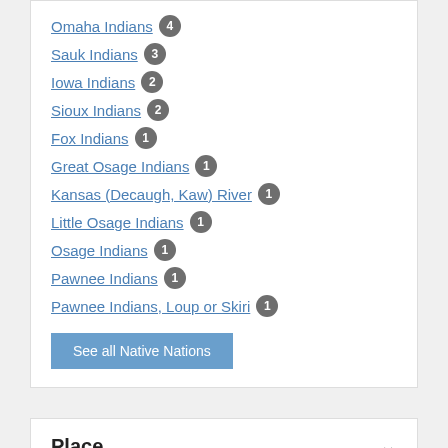Omaha Indians 4
Sauk Indians 3
Iowa Indians 2
Sioux Indians 2
Fox Indians 1
Great Osage Indians 1
Kansas (Decaugh, Kaw) River 1
Little Osage Indians 1
Osage Indians 1
Pawnee Indians 1
Pawnee Indians, Loup or Skiri 1
See all Native Nations
Place
Platte River (Nebr.) 9